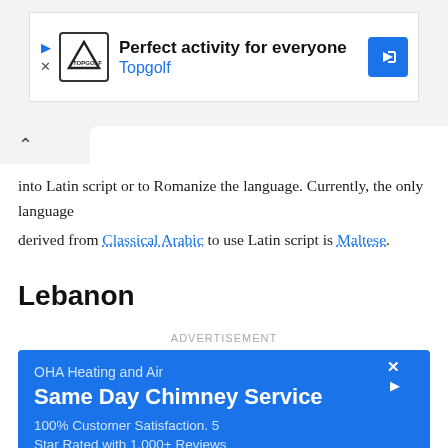[Figure (screenshot): Topgolf advertisement banner: 'Perfect activity for everyone — Topgolf' with logo and blue direction sign icon]
into Latin script or to Romanize the language. Currently, the only language
derived from Classical Arabic to use Latin script is Maltese.
Lebanon
ADVERTISEMENT
[Figure (screenshot): OHA Heating and Air advertisement: 'Same Day Chimney Service — 100% Customer Satisfaction. 5 Star Rated with 1,000+ Reviews' on blue background]